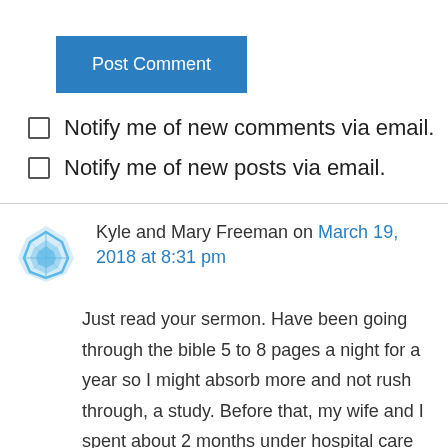[Figure (other): Blue 'Post Comment' button]
Notify me of new comments via email.
Notify me of new posts via email.
Kyle and Mary Freeman on March 19, 2018 at 8:31 pm
Just read your sermon. Have been going through the bible 5 to 8 pages a night for a year so I might absorb more and not rush through, a study. Before that, my wife and I spent about 2 months under hospital care from exposure to black mold. My wife was impacted by sepsis and encepholopathy, they said she should have died